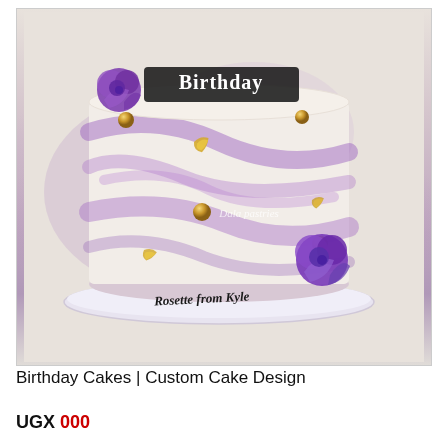[Figure (photo): A birthday cake with purple and white marble-effect frosting, decorated with purple rose flowers, gold leaf accents, gold pearl balls, a black 'Birthday' topper, and handwritten text on the cake board reading 'Rosette from Kyle'. Watermark reads 'Dala pastries'.]
Birthday Cakes | Custom Cake Design
UGX 000